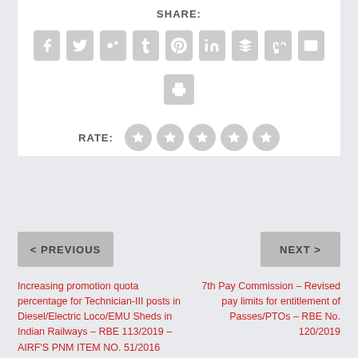SHARE:
[Figure (infographic): Social media sharing icons: Facebook, Twitter, Google+, Tumblr, Pinterest, LinkedIn, Buffer, StumbleUpon, Email, and a Print icon below]
RATE: (5 star rating circles)
< PREVIOUS
NEXT >
Increasing promotion quota percentage for Technician-III posts in Diesel/Electric Loco/EMU Sheds in Indian Railways – RBE 113/2019 – AIRF'S PNM ITEM NO. 51/2016
7th Pay Commission – Revised pay limits for entitlement of Passes/PTOs – RBE No. 120/2019